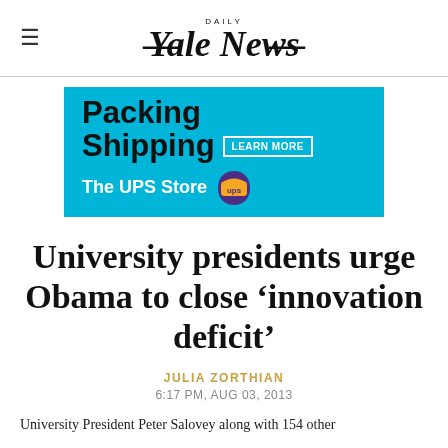Yale Daily News
[Figure (advertisement): UPS Store advertisement with cyan background: 'Packing Shipping LEARN MORE The UPS Store' with UPS shield logo]
University presidents urge Obama to close ‘innovation deficit’
JULIA ZORTHIAN
6:17 PM, AUG 03, 2013
University President Peter Salovey along with 154 other...